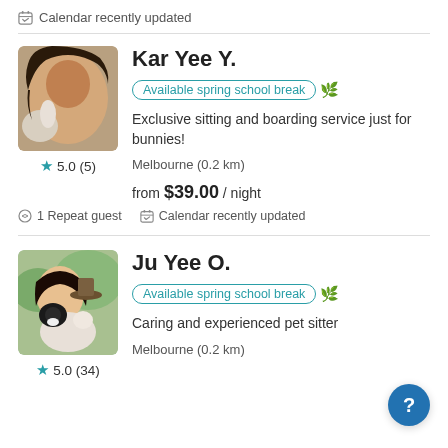Calendar recently updated
[Figure (photo): Photo of Kar Yee Y. holding a rabbit, profile picture]
Kar Yee Y.
Available spring school break
Exclusive sitting and boarding service just for bunnies!
Melbourne (0.2 km)
from $39.00 / night
5.0 (5)
1 Repeat guest  Calendar recently updated
[Figure (photo): Photo of Ju Yee O. with a black and white cat, profile picture]
Ju Yee O.
Available spring school break
Caring and experienced pet sitter
Melbourne (0.2 km)
5.0 (34)